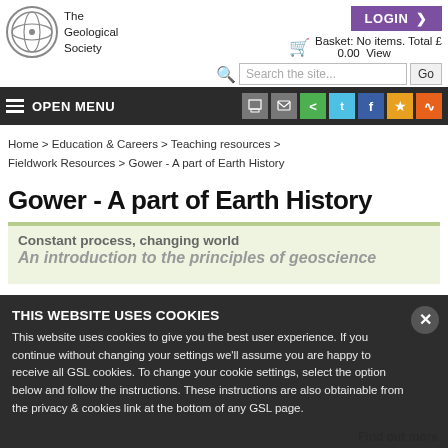[Figure (logo): The Geological Society circular logo with stylized 'GS' design]
The Geological Society
LOGIN >
Basket: No items. Total £0.00  View
Search the site...  Go
≡ OPEN MENU
Home > Education & Careers > Teaching resources > Fieldwork Resources > Gower - A part of Earth History
Gower - A part of Earth History
Constant process, changing world
An introduction to the principles of geoscience
THIS WEBSITE USES COOKIES
This website uses cookies to give you the best user experience. If you continue without changing your settings we'll assume you are happy to receive all GSL cookies. To change your cookie settings, select the option below and follow the instructions. These instructions are also obtainable from the privacy & cookies link at the bottom of any GSL page.
Find out more